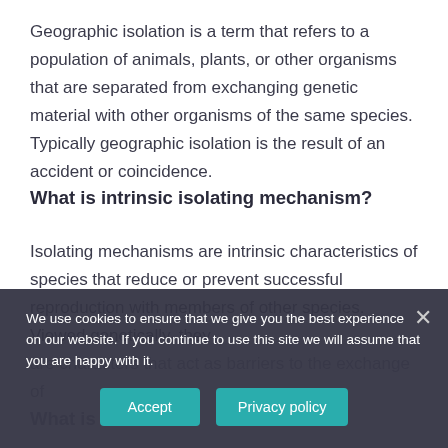Geographic isolation is a term that refers to a population of animals, plants, or other organisms that are separated from exchanging genetic material with other organisms of the same species. Typically geographic isolation is the result of an accident or coincidence.
What is intrinsic isolating mechanism?
Isolating mechanisms are intrinsic characteristics of species that reduce or prevent successful reproduction with members of other species. Viewed genetically, they are characters that act as barriers to the exchange of
What is extrinsi...
We use cookies to ensure that we give you the best experience on our website. If you continue to use this site we will assume that you are happy with it.